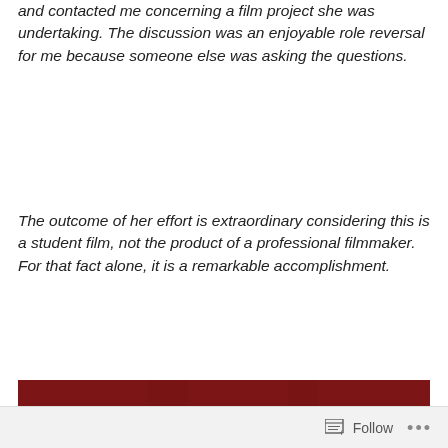and contacted me concerning a film project she was undertaking. The discussion was an enjoyable role reversal for me because someone else was asking the questions.
The outcome of her effort is extraordinary considering this is a student film, not the product of a professional filmmaker. For that fact alone, it is a remarkable accomplishment.
[Figure (photo): A red-background image with large painted letters 'FRO' or similar graffiti-style lettering in pink/white paint on a dark red surface.]
Follow ···